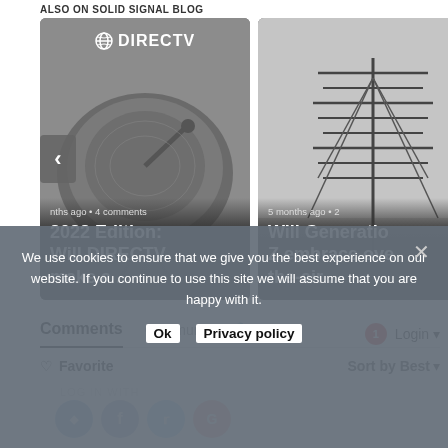ALSO ON SOLID SIGNAL BLOG
[Figure (photo): Satellite dish with DIRECTV logo. Card showing article: '2022 Edition: Will DIRECTV make a ...' posted some months ago with 4 comments. Left navigation arrow visible.]
[Figure (photo): TV antenna/aerial photo. Card showing article: 'Will Generation Z embrace over-the-air ...' posted 5 months ago with 2 comments. Right navigation arrow visible.]
Comments	Community	🔒	1	Login ▾
♡ Favorite	Sort by Best ▾
We use cookies to ensure that we give you the best experience on our website. If you continue to use this site we will assume that you are happy with it.
Ok	Privacy policy
LOG IN WITH
[Figure (infographic): Social login icons: blue D circle, Facebook blue circle, Twitter blue circle, Google red circle]